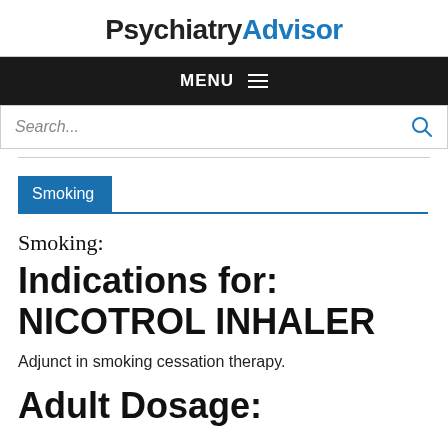PsychiatryAdvisor
MENU
Search...
Smoking
Smoking:
Indications for: NICOTROL INHALER
Adjunct in smoking cessation therapy.
Adult Dosage: